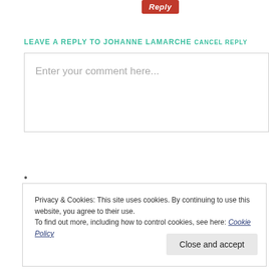[Figure (screenshot): Red italic bold 'Reply' button at top of page]
LEAVE A REPLY TO JOHANNE LAMARCHE CANCEL REPLY
Enter your comment here...
•
Privacy & Cookies: This site uses cookies. By continuing to use this website, you agree to their use.
To find out more, including how to control cookies, see here: Cookie Policy
Close and accept